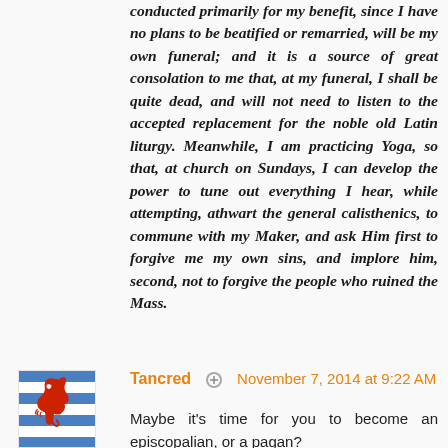conducted primarily for my benefit, since I have no plans to be beatified or remarried, will be my own funeral; and it is a source of great consolation to me that, at my funeral, I shall be quite dead, and will not need to listen to the accepted replacement for the noble old Latin liturgy. Meanwhile, I am practicing Yoga, so that, at church on Sundays, I can develop the power to tune out everything I hear, while attempting, athwart the general calisthenics, to commune with my Maker, and ask Him first to forgive me my own sins, and implore him, second, not to forgive the people who ruined the Mass.
Tancred  November 7, 2014 at 9:22 AM
Maybe it's time for you to become an episcopalian, or a pagan?
The alternative to being Catholic isn't that bad as Michael Davies used to say, "eat, drink and be